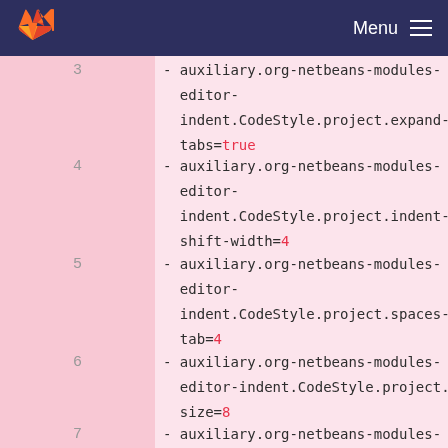Menu
3  - auxiliary.org-netbeans-modules-editor-indent.CodeStyle.project.expand-tabs=true
4  - auxiliary.org-netbeans-modules-editor-indent.CodeStyle.project.indent-shift-width=4
5  - auxiliary.org-netbeans-modules-editor-indent.CodeStyle.project.spaces-per-tab=4
6  - auxiliary.org-netbeans-modules-editor-indent.CodeStyle.project.tab-size=8
7  - auxiliary.org-netbeans-modules-editor-indent.CodeStyle.project.text-limit-width=100
8  - auxiliary.org-netbeans-modules-editor-